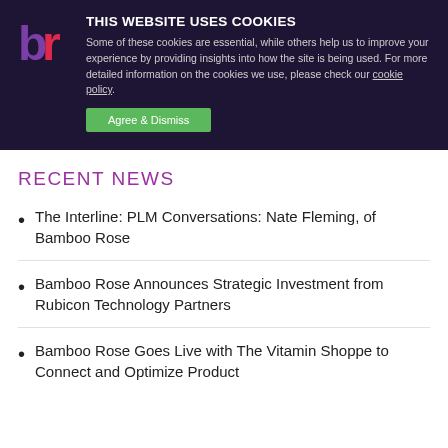[Figure (logo): Bamboo Rose logo — stylized 'br' letters in purple and pink on dark background]
THIS WEBSITE USES COOKIES
Some of these cookies are essential, while others help us to improve your experience by providing insights into how the site is being used. For more detailed information on the cookies we use, please check our cookie policy.
RECENT NEWS
The Interline: PLM Conversations: Nate Fleming, of Bamboo Rose
Bamboo Rose Announces Strategic Investment from Rubicon Technology Partners
Bamboo Rose Goes Live with The Vitamin Shoppe to Connect and Optimize Product